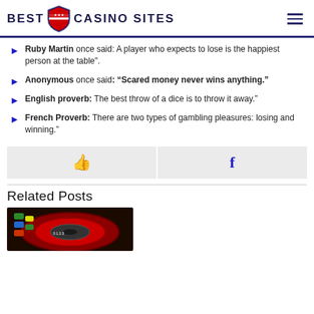BEST USA CASINO SITES
Ruby Martin once said: A player who expects to lose is the happiest person at the table".
Anonymous once said: “Scared money never wins anything.”
English proverb: The best throw of a dice is to throw it away.”
French Proverb: There are two types of gambling pleasures: losing and winning.”
[Figure (infographic): Social sharing bar with thumbs up icon and Facebook icon on grey background]
Related Posts
[Figure (photo): Photo of a roulette wheel with casino chips]